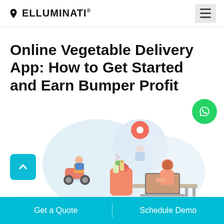ELLUMINATI®
Online Vegetable Delivery App: How to Get Started and Earn Bumper Profit
[Figure (illustration): Illustration showing online grocery/vegetable delivery concept: a delivery rider on a scooter with packages, a location pin icon, a woman sitting at a laptop with a grocery bag, and a paper plane icon, all depicted in a flat design style with circular background elements]
Get a Quote
Schedule Demo